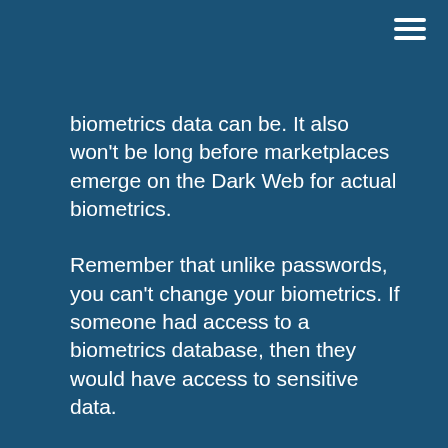≡
biometrics data can be. It also won't be long before marketplaces emerge on the Dark Web for actual biometrics.
Remember that unlike passwords, you can't change your biometrics. If someone had access to a biometrics database, then they would have access to sensitive data.
Another reservation involves the right to privacy for your biometrics. It's possible for your biometrics to be collected without your informed consent. For instance, in stores where face recognition is used to identify potential shoplifters or to survey shoppers' behavior. Recently, the FaceApp Challenge created by a Russian company had its share of controversy. Although said to be purely for